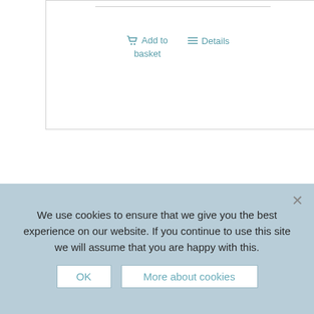[Figure (other): Partial view of a product card with a horizontal line at top and two action links: 'Add to basket' with a cart icon and 'Details' with a list icon, in teal color.]
[Figure (photo): Photograph of a large historic English manor house built of stone with multiple chimneys, tall windows, and surrounded by green lawns and trees. Several visitors walk along a curved path toward the entrance.]
We use cookies to ensure that we give you the best experience on our website. If you continue to use this site we will assume that you are happy with this.